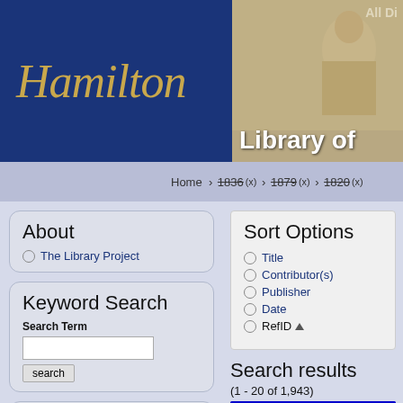[Figure (screenshot): Hamilton College header logo with dark blue background and italic golden text reading 'Hamilton']
[Figure (screenshot): Library of Congress digital collections header image with historical illustration and text 'All Di' and 'Library of']
Home › 1836 (x) › 1879 (x) › 1820 (x)
About
The Library Project
Keyword Search
Search Term
Browse the Catalog
Titles
Sort Options
Title
Contributor(s)
Publisher
Date
RefID ▲
Search results
(1 - 20 of 1,943)
1  2  3